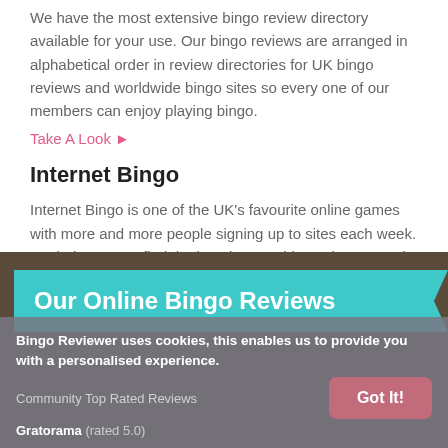We have the most extensive bingo review directory available for your use. Our bingo reviews are arranged in alphabetical order in review directories for UK bingo reviews and worldwide bingo sites so every one of our members can enjoy playing bingo.
Take A Look ►
Internet Bingo
Internet Bingo is one of the UK's favourite online games with more and more people signing up to sites each week. We help gamers find the best internet bingo sites around and are the premier resource for internet bingo reviews, previews and news. We essentially find internet bingo games to suit your needs and budgets.
Take A Look ►
Our Online Bingo Reviews
Bingo Reviewer uses cookies, this enables us to provide you with a personalised experience.
Community Top Rated Reviews
Gratorama (rated 5.0)